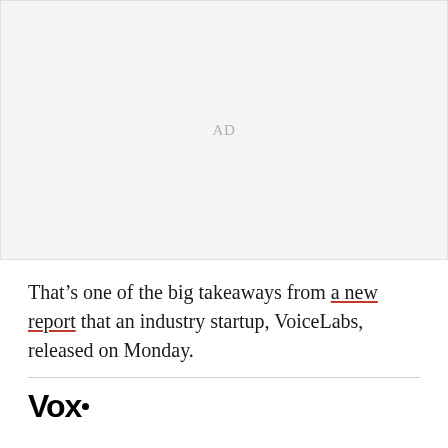[Figure (other): Advertisement placeholder area with 'AD' label centered in a light gray box]
That’s one of the big takeaways from a new report that an industry startup, VoiceLabs, released on Monday.
Vox